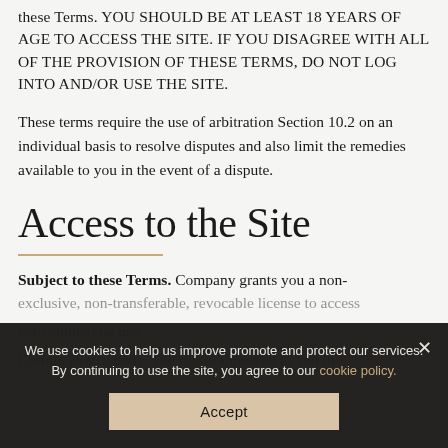these Terms. YOU SHOULD BE AT LEAST 18 YEARS OF AGE TO ACCESS THE SITE. IF YOU DISAGREE WITH ALL OF THE PROVISION OF THESE TERMS, DO NOT LOG INTO AND/OR USE THE SITE.
These terms require the use of arbitration Section 10.2 on an individual basis to resolve disputes and also limit the remedies available to you in the event of a dispute.
Access to the Site
Subject to these Terms. Company grants you a non-exclusive, non-transferable, revocable license to access and use the Site strictly in accordance with these Terms for your noncommercial use.
Certain Restrictions. The rights approved to you in
We use cookies to help us improve promote and protect our services. By continuing to use the site, you agree to our cookie policy.